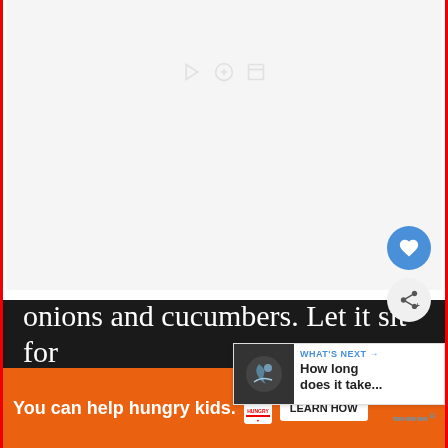[Figure (photo): A photo or video thumbnail area, mostly white/grey, with faint share/media icons visible at top center. A blue heart/like button and a grey share button are overlaid on the right side.]
Add the piping hot mixture over the
[Figure (infographic): WHAT'S NEXT → widget showing a thumbnail image and the text 'How long does it take...']
onions and cucumbers. Let it sit for
[Figure (infographic): Ad banner: 'You can help hungry kids.' with No Kid Hungry logo and LEARN HOW button on orange background. Close X button and Millward Brown logo on right.]